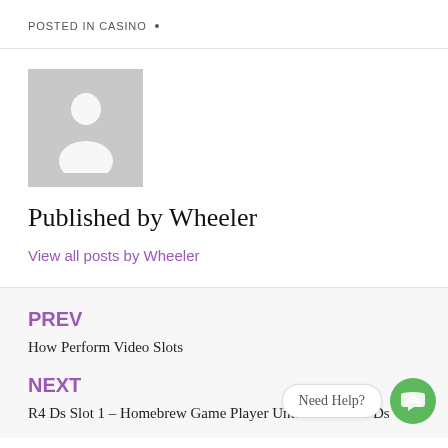POSTED IN CASINO •
[Figure (illustration): Gray avatar placeholder image showing a generic person silhouette (head and shoulders) on a light gray background]
Published by Wheeler
View all posts by Wheeler
PREV
How Perform Video Slots
NEXT
R4 Ds Slot 1 – Homebrew Game Player Untuk Nintendo Ds
Need Help?